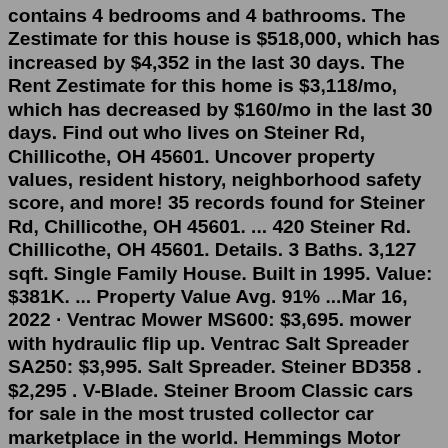contains 4 bedrooms and 4 bathrooms. The Zestimate for this house is $518,000, which has increased by $4,352 in the last 30 days. The Rent Zestimate for this home is $3,118/mo, which has decreased by $160/mo in the last 30 days. Find out who lives on Steiner Rd, Chillicothe, OH 45601. Uncover property values, resident history, neighborhood safety score, and more! 35 records found for Steiner Rd, Chillicothe, OH 45601. ... 420 Steiner Rd. Chillicothe, OH 45601. Details. 3 Baths. 3,127 sqft. Single Family House. Built in 1995. Value: $381K. ... Property Value Avg. 91% ...Mar 16, 2022 · Ventrac Mower MS600: $3,695. mower with hydraulic flip up. Ventrac Salt Spreader SA250: $3,995. Salt Spreader. Steiner BD358 . $2,295 . V-Blade. Steiner Broom Classic cars for sale in the most trusted collector car marketplace in the world. Hemmings Motor News has been serving the classic car hobby since 1954. We are largest vintage car website with the... Jun 26, 2020 · Zestimate® Home Value: $352,000. 420 Steiner Rd #V560-P98, Chillicothe, OH is a single family home that contains